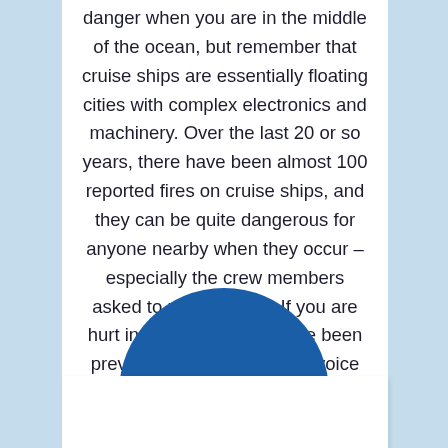danger when you are in the middle of the ocean, but remember that cruise ships are essentially floating cities with complex electronics and machinery. Over the last 20 or so years, there have been almost 100 reported fires on cruise ships, and they can be quite dangerous for anyone nearby when they occur – especially the crew members asked to put them out. If you are hurt in a fire that could have been prevented, make sure your voice is heard.
[Figure (illustration): A large dark blue circle partially overlapping a white rectangular card below, set against a light blue background]